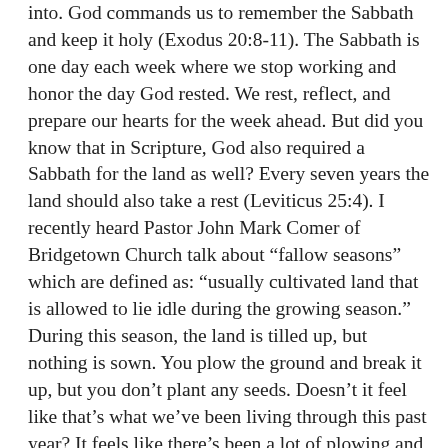into. God commands us to remember the Sabbath and keep it holy (Exodus 20:8-11). The Sabbath is one day each week where we stop working and honor the day God rested. We rest, reflect, and prepare our hearts for the week ahead. But did you know that in Scripture, God also required a Sabbath for the land as well? Every seven years the land should also take a rest (Leviticus 25:4). I recently heard Pastor John Mark Comer of Bridgetown Church talk about “fallow seasons” which are defined as: “usually cultivated land that is allowed to lie idle during the growing season.” During this season, the land is tilled up, but nothing is sown. You plow the ground and break it up, but you don’t plant any seeds. Doesn’t it feel like that’s what we’ve been living through this past year? It feels like there’s been a lot of plowing and brokenness, but not a lot of growth or harvest. So what is the purpose of a fallow season? Fallow seasons are intended to give the land a break and allow for a time of rest. The purpose is for weeds to be destroyed and soil moisture to be conserved.